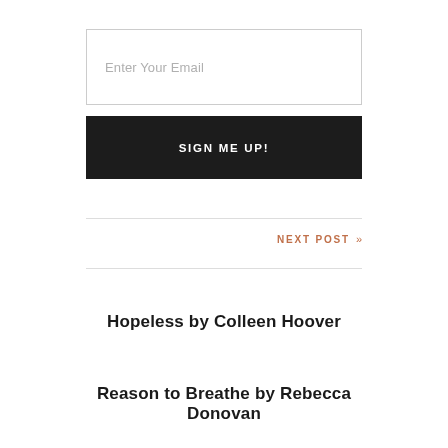Enter Your Email
SIGN ME UP!
NEXT POST »
Hopeless by Colleen Hoover
Reason to Breathe by Rebecca Donovan